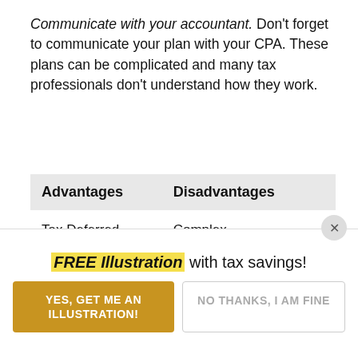Communicate with your accountant. Don't forget to communicate your plan with your CPA. These plans can be complicated and many tax professionals don't understand how they work.
| Advantages | Disadvantages |
| --- | --- |
| Tax Deferred Investments | Complex Combination Rules |
| Large |  |
FREE Illustration with tax savings!
YES, GET ME AN ILLUSTRATION!
NO THANKS, I AM FINE